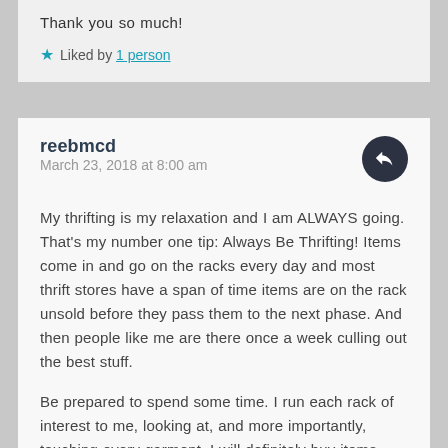Thank you so much!
Liked by 1 person
reebmcd
March 23, 2018 at 8:00 am
My thrifting is my relaxation and I am ALWAYS going. That's my number one tip: Always Be Thrifting! Items come in and go on the racks every day and most thrift stores have a span of time items are on the rack unsold before they pass them to the next phase. And then people like me are there once a week culling out the best stuff.
Be prepared to spend some time. I run each rack of interest to me, looking at, and more importantly, touching every garment. I will definitely buy items regardless of what tag is in them if they are well made of quality fabrics. When you find something